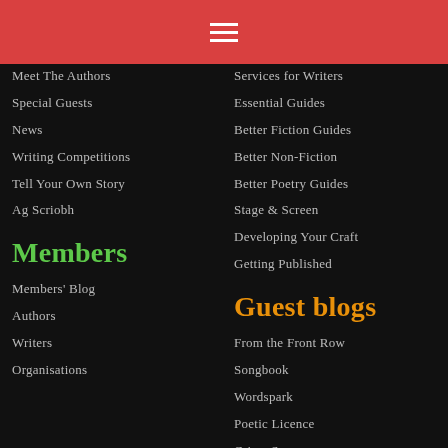Navigation menu header bar
Meet The Authors
Special Guests
News
Writing Competitions
Tell Your Own Story
Ag Scriobh
Services for Writers
Essential Guides
Better Fiction Guides
Better Non-Fiction
Better Poetry Guides
Stage & Screen
Developing Your Craft
Getting Published
Members
Guest blogs
Members' Blog
Authors
Writers
Organisations
From the Front Row
Songbook
Wordspark
Poetic Licence
Crime Scene
Flourish and Blogs